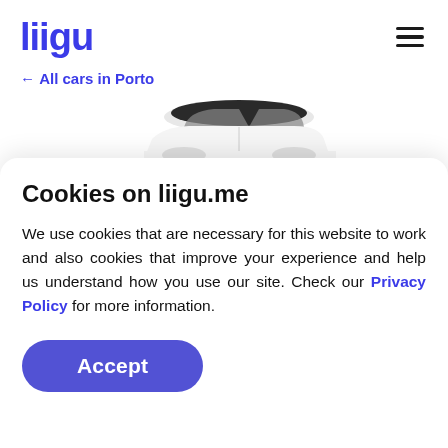liigu
← All cars in Porto
[Figure (illustration): Partial view of a white sedan car from the side/rear quarter, showing the roof and windows against a white background]
Cookies on liigu.me
We use cookies that are necessary for this website to work and also cookies that improve your experience and help us understand how you use our site. Check our Privacy Policy for more information.
Accept